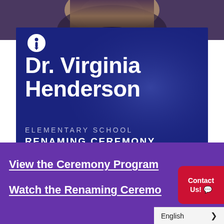[Figure (photo): Photograph of Dr. Virginia Henderson, a Black woman, visible at the top of the page above a dark navy blue promotional panel]
Dr. Virginia Henderson
ELEMENTARY SCHOOL
RENAMING CEREMONY
MAY 10, 2022
View the Ceremony Program
Watch the Renaming Ceremo…
Contact Us!
English >